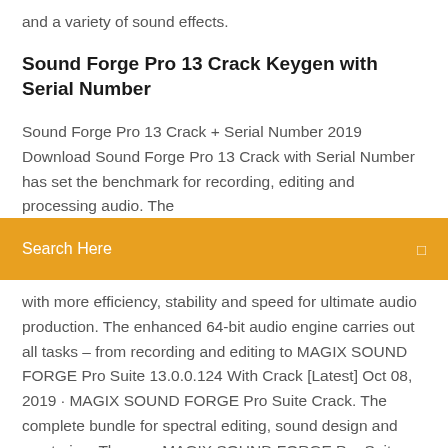and a variety of sound effects.
Sound Forge Pro 13 Crack Keygen with Serial Number
Sound Forge Pro 13 Crack + Serial Number 2019 Download Sound Forge Pro 13 Crack with Serial Number has set the benchmark for recording, editing and processing audio. The
[Figure (other): Orange search bar UI element with text 'Search Here' and a search icon on the right]
with more efficiency, stability and speed for ultimate audio production. The enhanced 64-bit audio engine carries out all tasks – from recording and editing to MAGIX SOUND FORGE Pro Suite 13.0.0.124 With Crack [Latest] Oct 08, 2019 · MAGIX SOUND FORGE Pro Suite Crack. The complete bundle for spectral editing, sound design and mastering. The new MAGIX SOUND FORGE Pro Suite Full Crack free Download is here – and bundled with many renowned audio shaping and enhancing plugins, like the brand new SpectraLayers Pro 6 or Melodyne essential. Designed to be a complete set for recording, editing